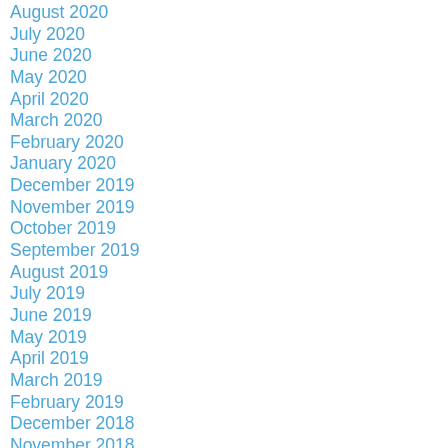August 2020
July 2020
June 2020
May 2020
April 2020
March 2020
February 2020
January 2020
December 2019
November 2019
October 2019
September 2019
August 2019
July 2019
June 2019
May 2019
April 2019
March 2019
February 2019
December 2018
November 2018